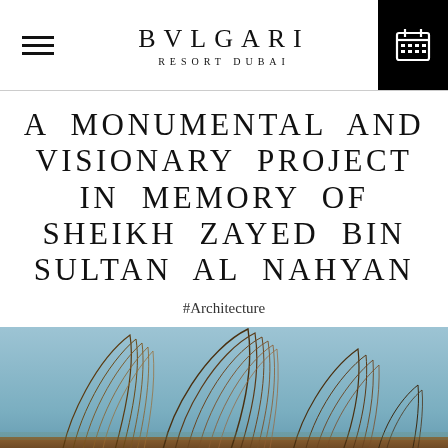BVLGARI RESORT DUBAI
A MONUMENTAL AND VISIONARY PROJECT IN MEMORY OF SHEIKH ZAYED BIN SULTAN AL NAHYAN
#Architecture
[Figure (photo): Architectural photograph of large curved lattice/fin structures against a blue sky, resembling the Zayed National Museum wings in Abu Dhabi.]